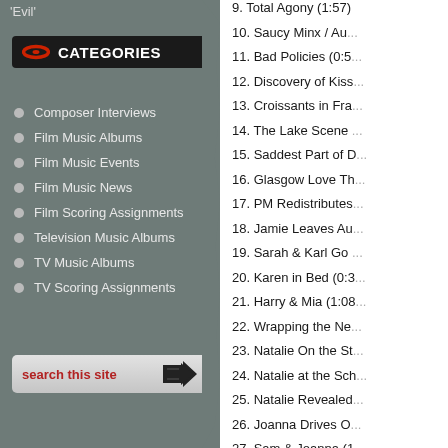'Evil'
CATEGORIES
Composer Interviews
Film Music Albums
Film Music Events
Film Music News
Film Scoring Assignments
Television Music Albums
TV Music Albums
TV Scoring Assignments
search this site
9. Total Agony (1:57)
10. Saucy Minx / Au...
11. Bad Policies (0:5...
12. Discovery of Kiss...
13. Croissants in Fra...
14. The Lake Scene ...
15. Saddest Part of D...
16. Glasgow Love Th...
17. PM Redistributes...
18. Jamie Leaves Au...
19. Sarah & Karl Go ...
20. Karen in Bed (0:3...
21. Harry & Mia (1:08...
22. Wrapping the Ne...
23. Natalie On the St...
24. Natalie at the Sch...
25. Natalie Revealed...
26. Joanna Drives O...
27. Sam & Joanna (1...
28. Portuguese Love...
29. Christmas Is All A...